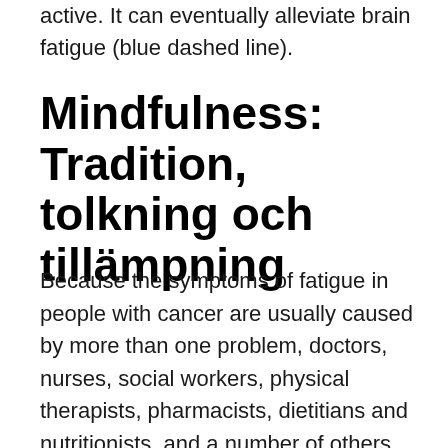active. It can eventually alleviate brain fatigue (blue dashed line).
Mindfulness: Tradition, tolkning och tillämpning
Because the symptoms of fatigue in people with cancer are usually caused by more than one problem, doctors, nurses, social workers, physical therapists, pharmacists, dietitians and nutritionists, and a number of others might be involved in treating your fatigue … 2021-02-03 Seek activity for shorter periods, take a break or change activity to something restful (blue line throughout the day) even when brain fatigue does not feel active. It can